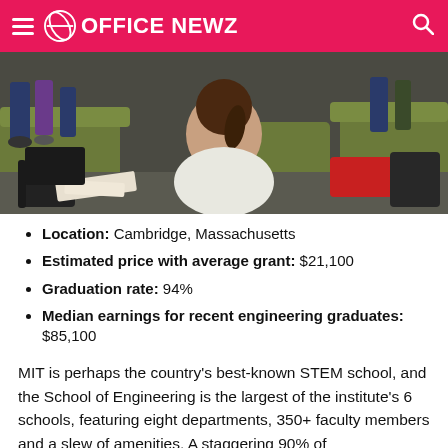OFFICE NEWZ
[Figure (photo): Students sitting in a lounge area with backpacks and bags on green furniture and floor]
Location: Cambridge, Massachusetts
Estimated price with average grant: $21,100
Graduation rate: 94%
Median earnings for recent engineering graduates: $85,100
MIT is perhaps the country’s best-known STEM school, and the School of Engineering is the largest of the institute’s 6 schools, featuring eight departments, 350+ faculty members and a slew of amenities. A staggering 90% of